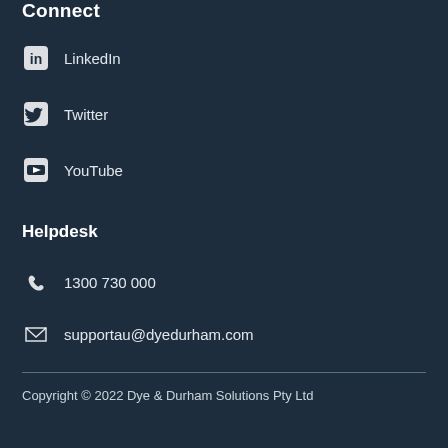Connect
LinkedIn
Twitter
YouTube
Helpdesk
1300 730 000
supportau@dyedurham.com
Copyright © 2022 Dye & Durham Solutions Pty Ltd